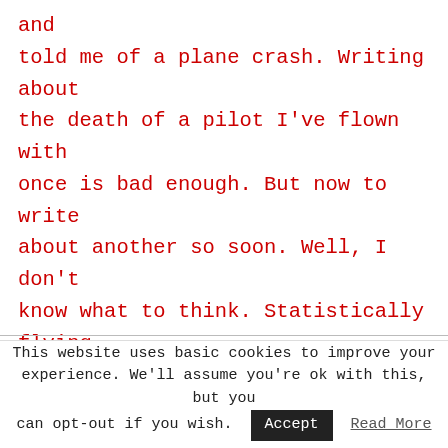and told me of a plane crash. Writing about the death of a pilot I've flown with once is bad enough. But now to write about another so soon. Well, I don't know what to think. Statistically flying is meant to be pretty safe. The chance of an average American dying in a plane crash is 1 in 11 million. Compared to one in 5000 being killed in a car …
[READ MORE...]
This website uses basic cookies to improve your experience. We'll assume you're ok with this, but you can opt-out if you wish. Accept Read More